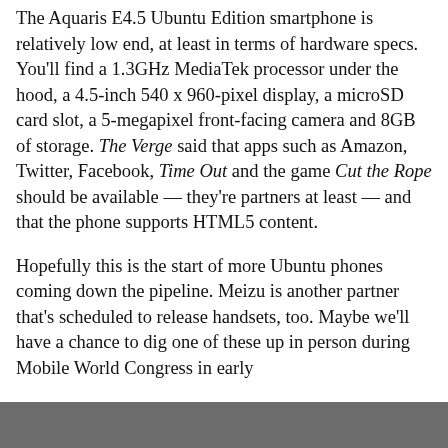The Aquaris E4.5 Ubuntu Edition smartphone is relatively low end, at least in terms of hardware specs. You'll find a 1.3GHz MediaTek processor under the hood, a 4.5-inch 540 x 960-pixel display, a microSD card slot, a 5-megapixel front-facing camera and 8GB of storage. The Verge said that apps such as Amazon, Twitter, Facebook, Time Out and the game Cut the Rope should be available — they're partners at least — and that the phone supports HTML5 content.
Hopefully this is the start of more Ubuntu phones coming down the pipeline. Meizu is another partner that's scheduled to release handsets, too. Maybe we'll have a chance to dig one of these up in person during Mobile World Congress in early